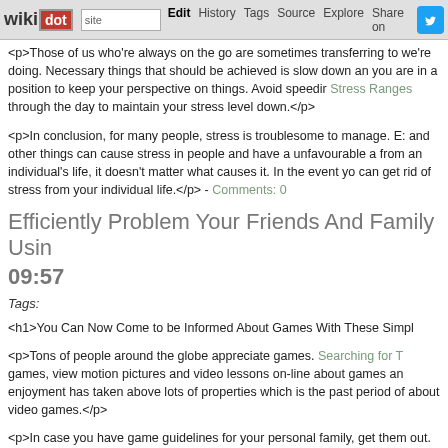wikidot | site | Edit | History | Tags | Source | Explore | Share on Twitter
<p>Those of us who're always on the go are sometimes transferring to we're doing. Necessary things that should be achieved is slow down an you are in a position to keep your perspective on things. Avoid speedir Stress Ranges through the day to maintain your stress level down.</p>
<p>In conclusion, for many people, stress is troublesome to manage. E: and other things can cause stress in people and have a unfavourable a from an individual's life, it doesn't matter what causes it. In the event yo can get rid of stress from your individual life.</p> - Comments: 0
Efficiently Problem Your Friends And Family Usin 09:57
Tags:
<h1>You Can Now Come to be Informed About Games With These Simpl
<p>Tons of people around the globe appreciate games. Searching for T games, view motion pictures and video lessons on-line about games an enjoyment has taken above lots of properties which is the past period of about video games.</p>
<p>In case you have game guidelines for your personal family, get them out. A visual guide to the principles has a lot increased affect on actions th in no way composed downward. Place them inside a effectively-trafficked
<p>If you are a gamer, you are already aware that movie video gaming r like find the most recent and finest new activity, it can generally cost no n